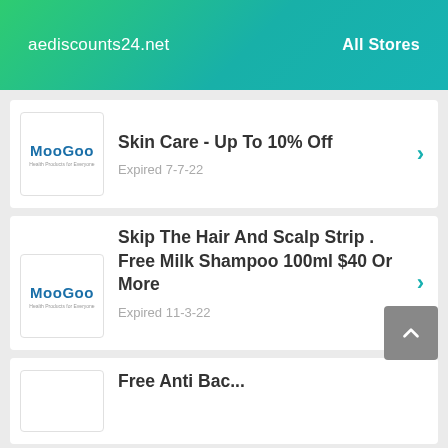aediscounts24.net   All Stores
Skin Care - Up To 10% Off
Expired 7-7-22
Skip The Hair And Scalp Strip . Free Milk Shampoo 100ml $40 Or More
Expired 11-3-22
Free Anti Bac...